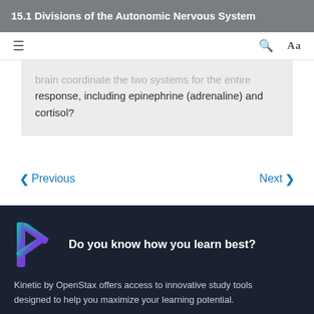15.1 Divisions of the Autonomic Nervous System
≡   🔍  Aa
brain coordinate the two systems for the entire response, including epinephrine (adrenaline) and cortisol?
< Previous    Next >
Do you know how you learn best?
Kinetic by OpenStax offers access to innovative study tools designed to help you maximize your learning potential.